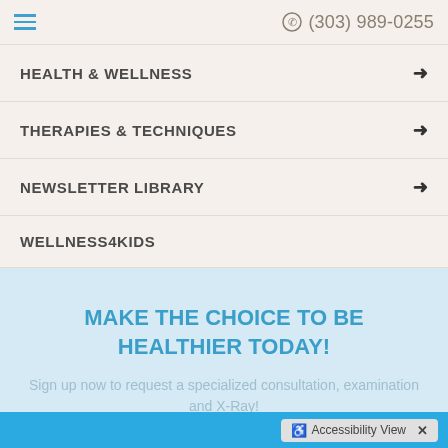(303) 989-0255
HEALTH & WELLNESS
THERAPIES & TECHNIQUES
NEWSLETTER LIBRARY
WELLNESS4KIDS
MAKE THE CHOICE TO BE HEALTHIER TODAY!
Sign up now to request a specialized consultation, examination and X-Ray!
Accessibility View